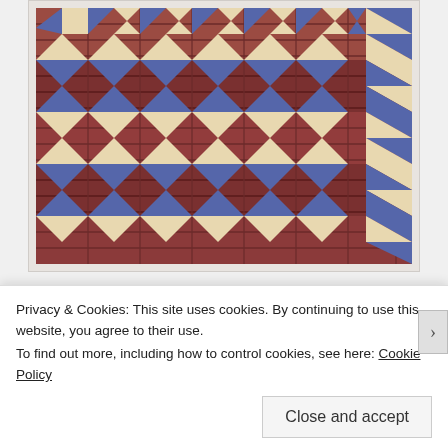[Figure (photo): Photograph of decorative floor tiles on stairs — large terracotta/red square tiles with a border pattern of blue and cream/white triangles forming a geometric zigzag design along the edges of each step.]
As I rounded the corner of the lobby, meandered through the bar and walked out on the back patio I
Privacy & Cookies: This site uses cookies. By continuing to use this website, you agree to their use.
To find out more, including how to control cookies, see here: Cookie Policy
Close and accept